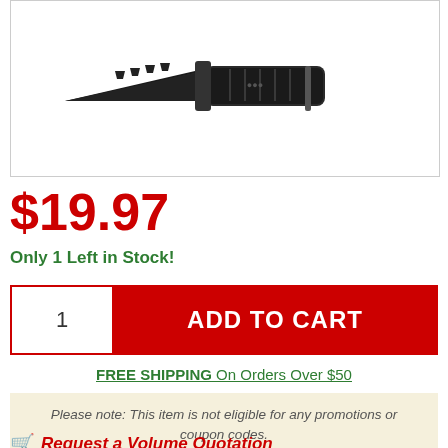[Figure (photo): Product photo of a black tactical folding knife with serrated blade on white background]
$19.97
Only 1 Left in Stock!
1  ADD TO CART
FREE SHIPPING On Orders Over $50
Please note: This item is not eligible for any promotions or coupon codes.
Request a Volume Quotation